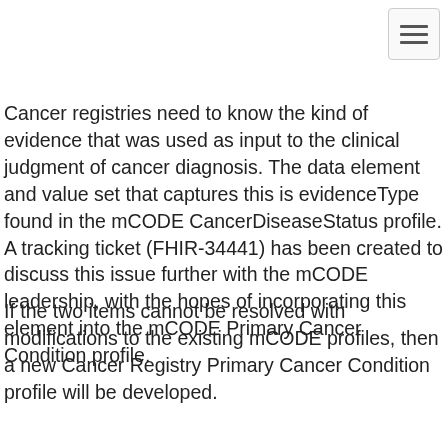Cancer registries need to know the kind of evidence that was used as input to the clinical judgment of cancer diagnosis. The data element and value set that captures this is evidenceType found in the mCODE CancerDiseaseStatus profile. A tracking ticket (FHIR-34441) has been created to discuss this issue further with the mCODE leadership, with the hopes of incorporating this element into the mCODE Primary Cancer Condition profile.
If the two items cannot be resolved with modifications to the existing mCODE profiles, then a new Cancer Registry Primary Cancer Condition profile will be developed.